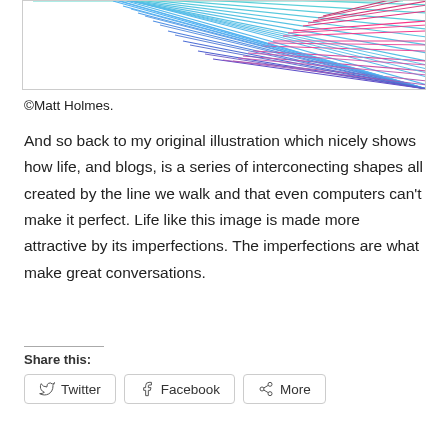[Figure (illustration): Partial view of a colorful radial line illustration with blue and pink/magenta lines emanating from a point, creating a fan-like pattern suggesting interconnecting shapes.]
©Matt Holmes.
And so back to my original illustration which nicely shows how life, and blogs, is a series of interconecting shapes all created by the line we walk and that even computers can't make it perfect. Life like this image is made more attractive by its imperfections. The imperfections are what make great conversations.
Share this:
Twitter
Facebook
More